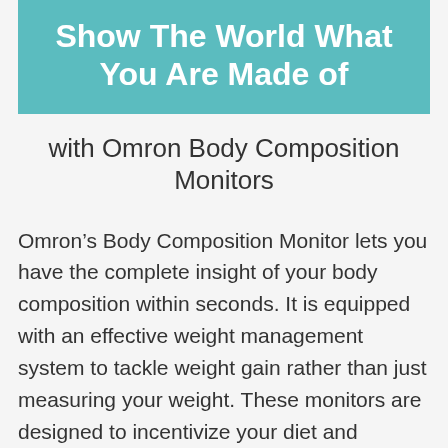Show The World What You Are Made of
with Omron Body Composition Monitors
Omron’s Body Composition Monitor lets you have the complete insight of your body composition within seconds. It is equipped with an effective weight management system to tackle weight gain rather than just measuring your weight. These monitors are designed to incentivize your diet and exercise regime.